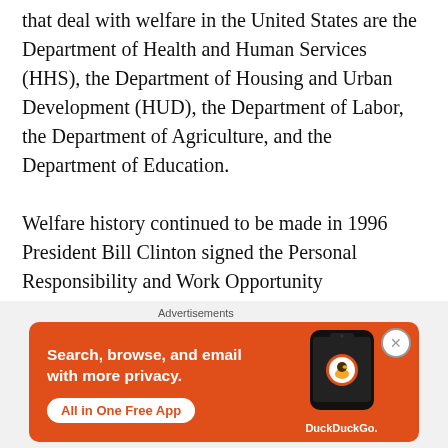that deal with welfare in the United States are the Department of Health and Human Services (HHS), the Department of Housing and Urban Development (HUD), the Department of Labor, the Department of Agriculture, and the Department of Education.
Welfare history continued to be made in 1996 President Bill Clinton signed the Personal Responsibility and Work Opportunity Reconciliation
[Figure (infographic): DuckDuckGo advertisement banner with orange background. Text: 'Search, browse, and email with more privacy. All in One Free App' with DuckDuckGo logo and phone image on right side.]